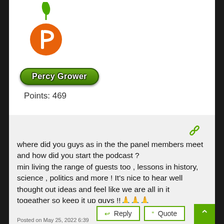[Figure (logo): Patreon-style user avatar icon in orange with green leaf on top]
Percy Grower
Points: 469
where did you guys as in the the panel members meet and how did you start the podcast ?
min living the range of guests too , lessons in history, science , politics and more ! It’s nice to hear well thought out ideas and feel like we are all in it togeather so keep it up guys !!🙏🙏🙏
Reply
Quote
Posted on May 25, 2022 6:39